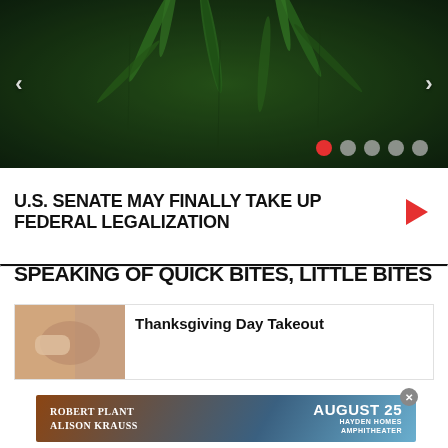[Figure (photo): Close-up photo of cannabis/marijuana plant leaves with dark green background, carousel with navigation arrows and dots]
U.S. SENATE MAY FINALLY TAKE UP FEDERAL LEGALIZATION
SPEAKING OF QUICK BITES, LITTLE BITES
[Figure (photo): Thumbnail image for Thanksgiving Day Takeout article]
Thanksgiving Day Takeout
[Figure (infographic): Advertisement banner: Robert Plant / Alison Krauss, August 25, Hayden Homes Amphitheater]